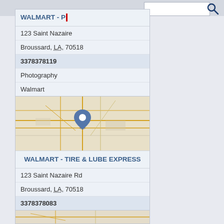[Figure (screenshot): Top portion of a business directory web page showing a search bar with a magnifying glass icon on the right.]
WALMART - P
123 Saint Nazaire
Broussard, LA, 70518
3378378119
Photography
Walmart
[Figure (map): Map showing location of Walmart - Tire & Lube Express in Broussard, LA with a blue map pin marker.]
WALMART - TIRE & LUBE EXPRESS
123 Saint Nazaire Rd
Broussard, LA, 70518
3378378083
Auto Oil Lube
Inner Core Tire
Oil Change
Tire Dealers
Tires